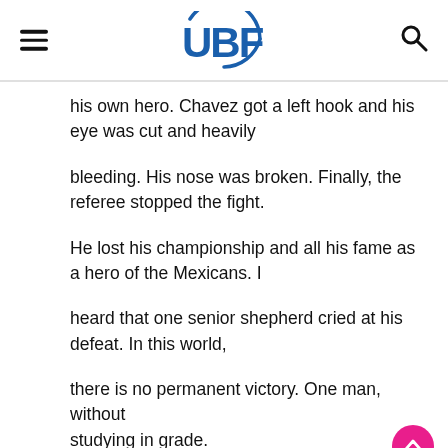UBF
his own hero. Chavez got a left hook and his eye was cut and heavily
bleeding. His nose was broken. Finally, the referee stopped the fight.
He lost his championship and all his fame as a hero of the Mexicans. I
heard that one senior shepherd cried at his defeat. In this world,
there is no permanent victory. One man, without studying in grade.